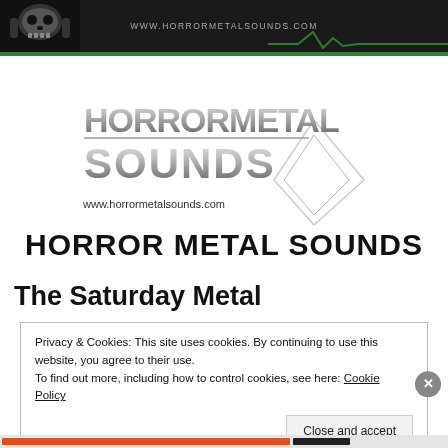WWW.HORRORMETALSOUNDS.COM
[Figure (logo): Horror Metal Sounds metallic text logo with skull graphic and URL www.horrormetalsounds.com]
HORROR METAL SOUNDS
The Saturday Metal
Privacy & Cookies: This site uses cookies. By continuing to use this website, you agree to their use.
To find out more, including how to control cookies, see here: Cookie Policy
Close and accept